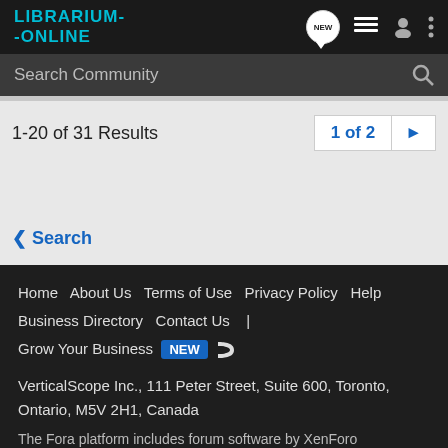LIBRARIUM-ONLINE [logo] NEW [icons]
Search Community
1-20 of 31 Results   1 of 2 ▶
< Search
Home  About Us  Terms of Use  Privacy Policy  Help  Business Directory  Contact Us  |  Grow Your Business  NEW  [rss icon]
VerticalScope Inc., 111 Peter Street, Suite 600, Toronto, Ontario, M5V 2H1, Canada
The Fora platform includes forum software by XenForo